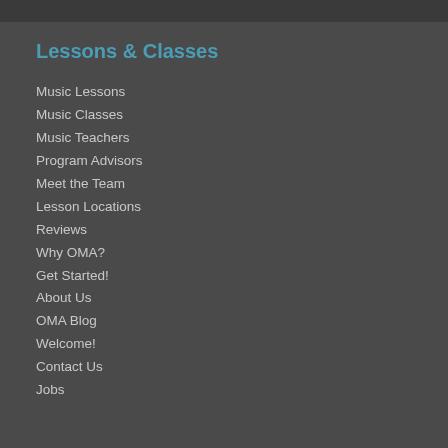Lessons & Classes
Music Lessons
Music Classes
Music Teachers
Program Advisors
Meet the Team
Lesson Locations
Reviews
Why OMA?
Get Started!
About Us
OMA Blog
Welcome!
Contact Us
Jobs